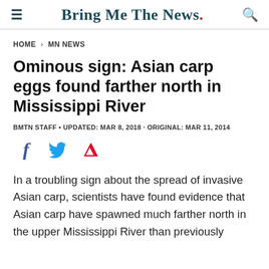Bring Me The News.
HOME > MN NEWS
Ominous sign: Asian carp eggs found farther north in Mississippi River
BMTN STAFF • UPDATED: MAR 8, 2018 · ORIGINAL: MAR 11, 2014
[Figure (other): Social sharing icons: Facebook (f), Twitter (bird), Pinterest (P)]
In a troubling sign about the spread of invasive Asian carp, scientists have found evidence that Asian carp have spawned much farther north in the upper Mississippi River than previously